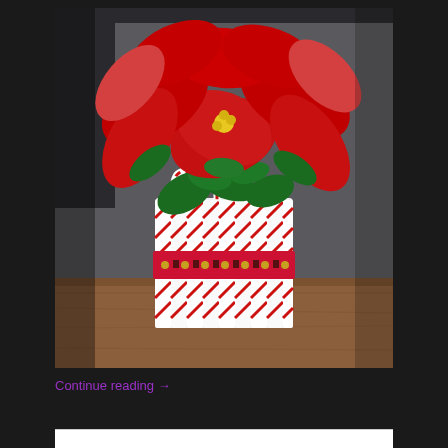[Figure (photo): A Christmas-themed floral arrangement featuring a red poinsettia plant placed in a cylindrical container decorated with candy canes arranged vertically and held together with a red ribbon with gold dots, sitting on a wooden surface against a dark gray background.]
Continue reading →